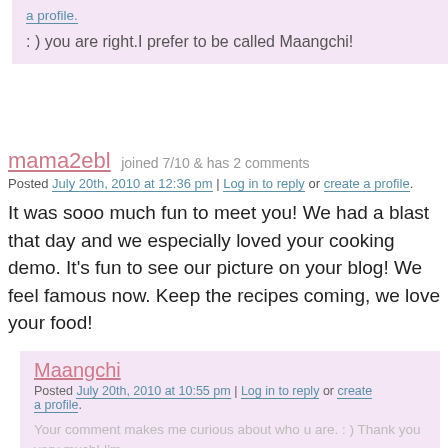: ) you are right.I prefer to be called Maangchi!
mama2ebl  joined 7/10  & has 2 comments
Posted July 20th, 2010 at 12:36 pm | Log in to reply or create a profile.
It was sooo much fun to meet you! We had a blast that day and we especially loved your cooking demo. It's fun to see our picture on your blog! We feel famous now. Keep the recipes coming, we love your food!
Maangchi
Posted July 20th, 2010 at 10:55 pm | Log in to reply or create a profile.
Your comment makes me curious about who u are. : ) Thank you very much! I'm